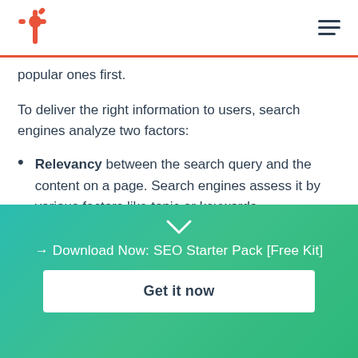HubSpot logo and navigation menu
popular ones first.
To deliver the right information to users, search engines analyze two factors:
Relevancy between the search query and the content on a page. Search engines assess it by various factors like topic or keywords.
Authority, which is measured by a website's
→ Download Now: SEO Starter Pack [Free Kit]
Get it now